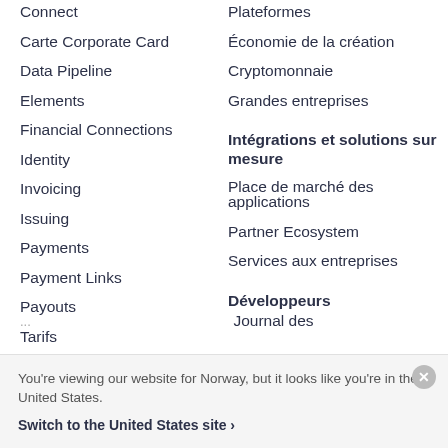Connect
Carte Corporate Card
Data Pipeline
Elements
Financial Connections
Identity
Invoicing
Issuing
Payments
Payment Links
Payouts
Tarifs
Plateformes
Économie de la création
Cryptomonnaie
Grandes entreprises
Intégrations et solutions sur mesure
Place de marché des applications
Partner Ecosystem
Services aux entreprises
Développeurs
You're viewing our website for Norway, but it looks like you're in the United States.
Switch to the United States site ›
Journal des